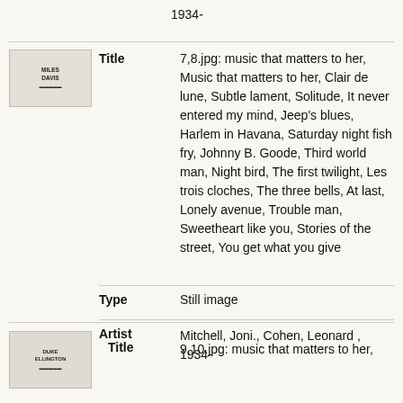1934-
[Figure (photo): Thumbnail image with Miles Davis text and small graphic]
| Title | 7,8.jpg: music that matters to her, Music that matters to her, Clair de lune, Subtle lament, Solitude, It never entered my mind, Jeep's blues, Harlem in Havana, Saturday night fish fry, Johnny B. Goode, Third world man, Night bird, The first twilight, Les trois cloches, The three bells, At last, Lonely avenue, Trouble man, Sweetheart like you, Stories of the street, You get what you give |
| Type | Still image |
| Artist | Mitchell, Joni., Cohen, Leonard , 1934- |
[Figure (photo): Thumbnail image with Duke Ellington text and small graphic]
9,10.jpg: music that matters to her,